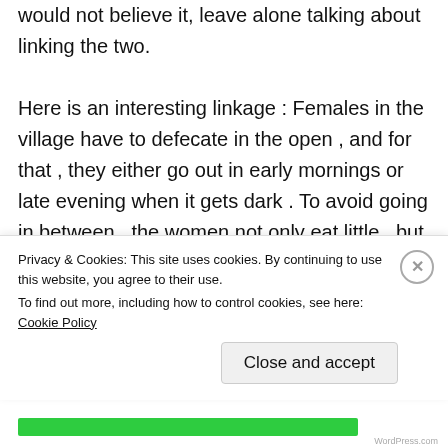would not believe it, leave alone talking about linking the two.

Here is an interesting linkage : Females in the village have to defecate in the open , and for that , they either go out in early mornings or late evening when it gets dark . To avoid going in between , the women not only eat little , but also feed children just good enough so they do not go out and defecate too often , and this has been a cause of malnutrition and under-
Privacy & Cookies: This site uses cookies. By continuing to use this website, you agree to their use.
To find out more, including how to control cookies, see here: Cookie Policy